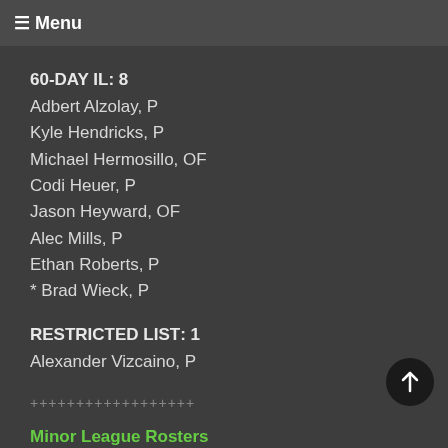≡ Menu
60-DAY IL: 8
Adbert Alzolay, P
Kyle Hendricks, P
Michael Hermosillo, OF
Codi Heuer, P
Jason Heyward, OF
Alec Mills, P
Ethan Roberts, P
* Brad Wieck, P
RESTRICTED LIST: 1
Alexander Vizcaino, P
++++++++++++++++++
Minor League Rosters
Rule 5 Draft